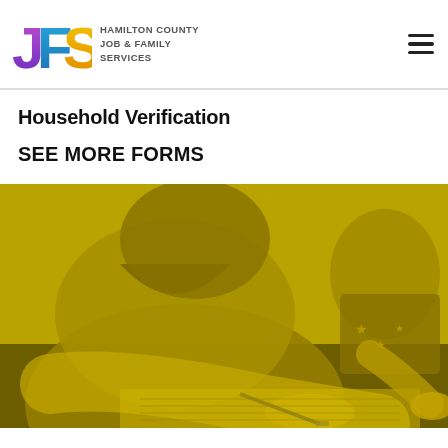[Figure (logo): Hamilton County Job & Family Services (JFS) logo with colorful J, F, S letters and agency name text]
Household Verification
SEE MORE FORMS
[Figure (photo): A woman sitting at a table filling out paperwork with a young child beside her, rendered with a yellow/gold color overlay]